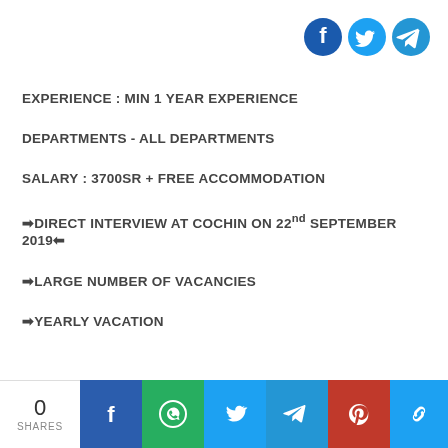[Figure (infographic): Social share icons: Facebook (dark blue circle), Twitter (light blue circle), Telegram (blue circle) displayed in top right corner]
EXPERIENCE : MIN 1 YEAR EXPERIENCE
DEPARTMENTS - ALL DEPARTMENTS
SALARY : 3700SR + FREE ACCOMMODATION
➡DIRECT INTERVIEW AT COCHIN ON 22nd SEPTEMBER 2019⬅
➡LARGE NUMBER OF VACANCIES
➡YEARLY VACATION
0 SHARES | Facebook | WhatsApp | Twitter | Telegram | Pinterest | Copy Link